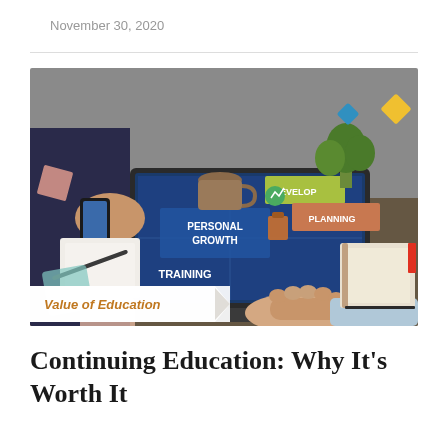November 30, 2020
[Figure (photo): A person using a laptop at a desk with a notebook; the laptop screen displays icons and text reading PERSONAL GROWTH, TRAINING, DEVELOP, PLANNING overlaid as an infographic; another person holds a smartphone nearby. An orange tag in the lower-left reads 'Value of Education'.]
Continuing Education: Why It's Worth It